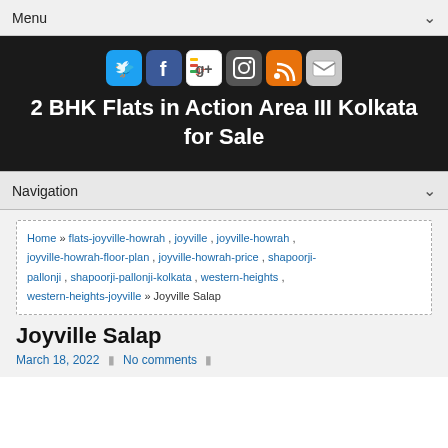Menu
[Figure (infographic): Row of social media icons: Twitter (blue bird), Facebook (blue f), Google+ (colorful g+), Instagram (camera), RSS (orange), Email (grey envelope)]
2 BHK Flats in Action Area III Kolkata for Sale
Navigation
Home » flats-joyville-howrah , joyville , joyville-howrah , joyville-howrah-floor-plan , joyville-howrah-price , shapoorji-pallonji , shapoorji-pallonji-kolkata , western-heights , western-heights-joyville » Joyville Salap
Joyville Salap
March 18, 2022 | No comments |